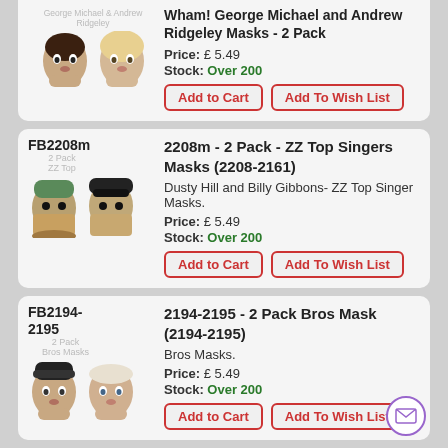[Figure (photo): Wham! George Michael and Andrew Ridgeley face masks - 2 pack product image]
Wham! George Michael and Andrew Ridgeley Masks - 2 Pack
Price: £ 5.49
Stock: Over 200
Add to Cart | Add To Wish List
FB2208m
2208m - 2 Pack - ZZ Top Singers Masks (2208-2161)
Dusty Hill and Billy Gibbons- ZZ Top Singer Masks.
Price: £ 5.49
Stock: Over 200
Add to Cart | Add To Wish List
FB2194-2195
2194-2195 - 2 Pack Bros Mask (2194-2195)
Bros Masks.
Price: £ 5.49
Stock: Over 200
Add to Cart | Add To Wish List
FB2311m
2311m - 3 Pack - Jonas Brothers Masks (2312-